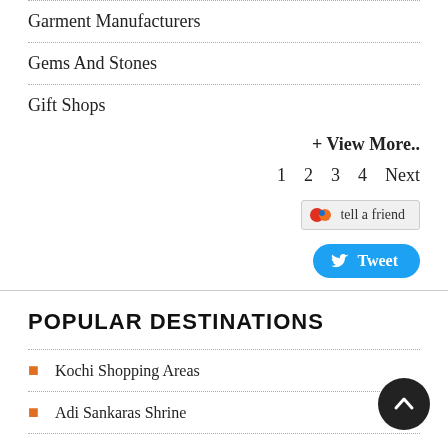Garment Manufacturers
Gems And Stones
Gift Shops
+ View More..
1  2  3  4  Next
[Figure (other): tell a friend button]
[Figure (other): Tweet button]
POPULAR DESTINATIONS
Kochi Shopping Areas
Adi Sankaras Shrine
Adishankara Janmabhoomi Temple
Alwu